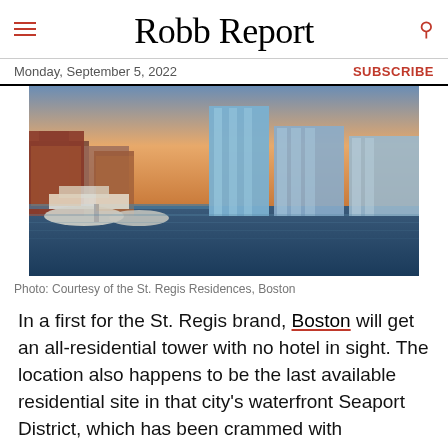Robb Report
Monday, September 5, 2022    SUBSCRIBE
[Figure (photo): Aerial/waterfront view of the St. Regis Residences, Boston, showing the Seaport District with modern glass towers, marina, and city skyline at dusk.]
Photo: Courtesy of the St. Regis Residences, Boston
In a first for the St. Regis brand, Boston will get an all-residential tower with no hotel in sight. The location also happens to be the last available residential site in that city's waterfront Seaport District, which has been crammed with development for about the last decade. Even